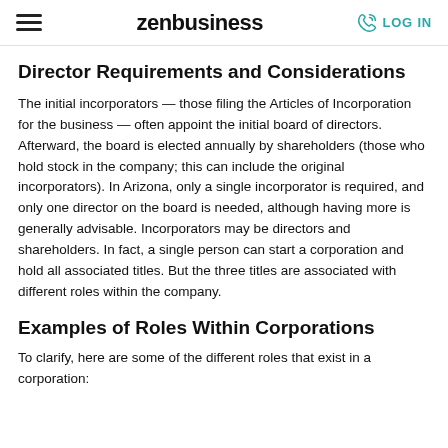zenbusiness | LOG IN
Director Requirements and Considerations
The initial incorporators — those filing the Articles of Incorporation for the business — often appoint the initial board of directors. Afterward, the board is elected annually by shareholders (those who hold stock in the company; this can include the original incorporators). In Arizona, only a single incorporator is required, and only one director on the board is needed, although having more is generally advisable. Incorporators may be directors and shareholders. In fact, a single person can start a corporation and hold all associated titles. But the three titles are associated with different roles within the company.
Examples of Roles Within Corporations
To clarify, here are some of the different roles that exist in a corporation: